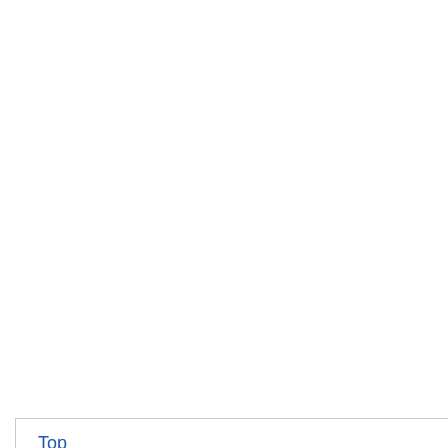19. Mazzara, M., et al. European Union Re
20. Mazzara, M., et al. European Union Re
21. Savini, C., et al. (20... Union Reference La
22. Demeke, T. and Ra... Modified Canola Ev... Canola Event. Foo... Time(s):2]
23. James, D., et al. (2... and Canola by Mult... http://dx.doi.org/10...
24. Yang, L., et... Canola Base... 1804-1809.
25. Yang, L., et
Top
ABSTRACT
Introduction
Material and Methods
Results
Discussion
E-Mail Alert    Join Peer-Review Program